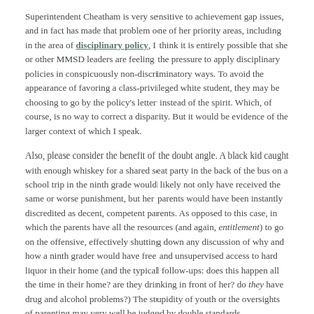Superintendent Cheatham is very sensitive to achievement gap issues, and in fact has made that problem one of her priority areas, including in the area of disciplinary policy, I think it is entirely possible that she or other MMSD leaders are feeling the pressure to apply disciplinary policies in conspicuously non-discriminatory ways. To avoid the appearance of favoring a class-privileged white student, they may be choosing to go by the policy's letter instead of the spirit. Which, of course, is no way to correct a disparity. But it would be evidence of the larger context of which I speak.
Also, please consider the benefit of the doubt angle. A black kid caught with enough whiskey for a shared seat party in the back of the bus on a school trip in the ninth grade would likely not only have received the same or worse punishment, but her parents would have been instantly discredited as decent, competent parents. As opposed to this case, in which the parents have all the resources (and again, entitlement) to go on the offensive, effectively shutting down any discussion of why and how a ninth grader would have free and unsupervised access to hard liquor in their home (and the typical follow-ups: does this happen all the time in their home? are they drinking in front of her? do they have drug and alcohol problems?) The stupidity of youth or the oversights of parenting may very well be judged by double standards corresponding to two different social realities—I honestly don't have a problem with that—but let us at least be honest about it by saying openly that the parents of this girl are reaping the advantages of their social position compared to many others who have none of those things.